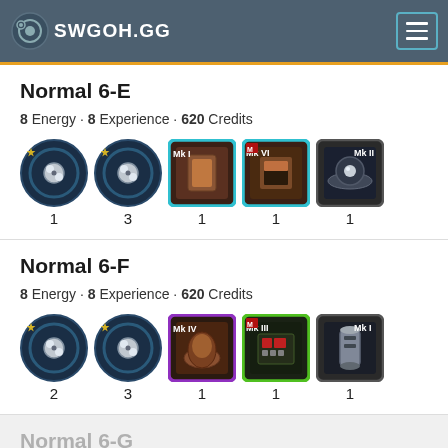SWGOH.GG
Normal 6-E
8 Energy · 8 Experience · 620 Credits
[Figure (other): Five item icons for Normal 6-E: two circular blue items (qty 1 and 3), then three square items labeled Mk I, Mk VI, Mk II (qty 1, 1, 1)]
Normal 6-F
8 Energy · 8 Experience · 620 Credits
[Figure (other): Five item icons for Normal 6-F: two circular blue items (qty 2 and 3), then three square items labeled Mk IV, Mk III, Mk I (qty 1, 1, 1)]
Normal 6-G